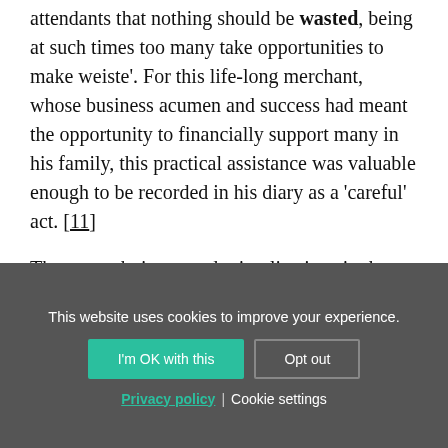attendants that nothing should be wasted, being at such times too many take opportunities to make weiste'. For this life-long merchant, whose business acumen and success had meant the opportunity to financially support many in his family, this practical assistance was valuable enough to be recorded in his diary as a 'careful' act. [11]
There are obvious gender implications in the division of these two types of care. The former was largely performed by women and under-appreciated, while the latter kind was often performed by men and deemed worthy of note; but
This website uses cookies to improve your experience.